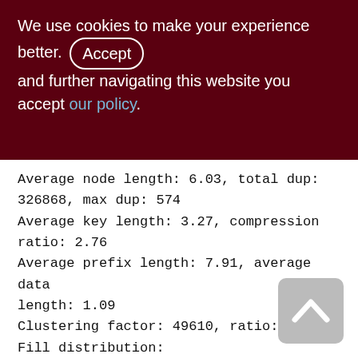We use cookies to make your experience better. By accepting and further navigating this website you accept our policy.
Average node length: 6.03, total dup: 326868, max dup: 574
Average key length: 3.27, compression ratio: 2.76
Average prefix length: 7.91, average data length: 1.09
Clustering factor: 49610, ratio: 0.13
Fill distribution:
0 - 19% = 3
20 - 39% = 31
40 - 59% = 353
60 - 79% = 113